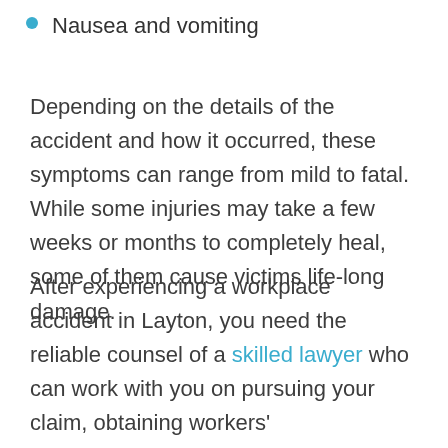Nausea and vomiting
Depending on the details of the accident and how it occurred, these symptoms can range from mild to fatal. While some injuries may take a few weeks or months to completely heal, some of them cause victims life-long damage.
After experiencing a workplace accident in Layton, you need the reliable counsel of a skilled lawyer who can work with you on pursuing your claim, obtaining workers' compensation, and helping you obtain the